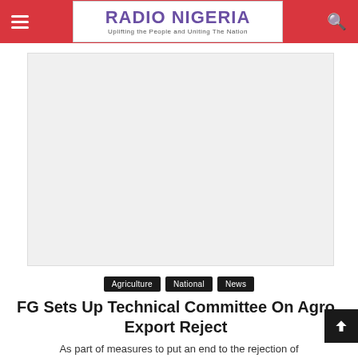Radio Nigeria — Uplifting the People and Uniting The Nation
[Figure (other): Advertisement or image placeholder, light gray box]
Agriculture
National
News
FG Sets Up Technical Committee On Agro Export Reject
As part of measures to put an end to the rejection of